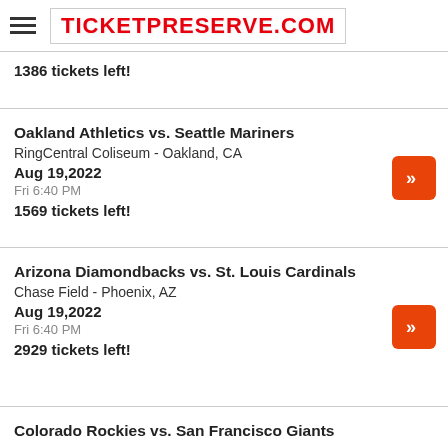TICKETPRESERVE.COM
1386 tickets left!
Oakland Athletics vs. Seattle Mariners
RingCentral Coliseum - Oakland, CA
Aug 19, 2022
Fri 6:40 PM
1569 tickets left!
Arizona Diamondbacks vs. St. Louis Cardinals
Chase Field - Phoenix, AZ
Aug 19, 2022
Fri 6:40 PM
2929 tickets left!
Colorado Rockies vs. San Francisco Giants